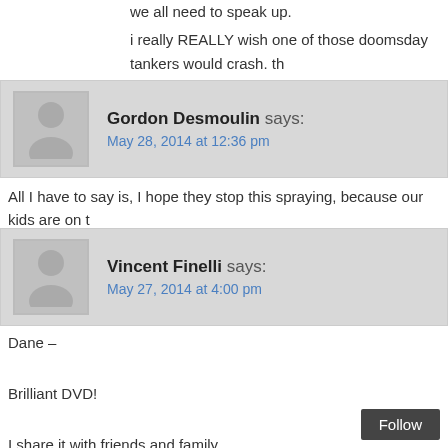we all need to speak up.
i really REALLY wish one of those doomsday tankers would crash. th
Gordon Desmoulin says:
May 28, 2014 at 12:36 pm
All I have to say is, I hope they stop this spraying, because our kids are on t
Vincent Finelli says:
May 27, 2014 at 4:00 pm
Dane –

Brilliant DVD!

I share it with friends and family.

The global elite have declared war on the planet – our planet.

Thank you for all you are doing in the fight of our lives.

Vincent Finelli, Broadcaster
Follow